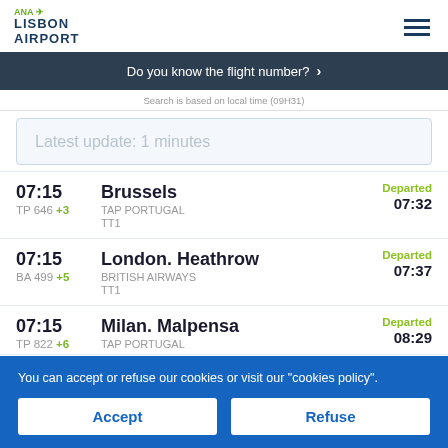ANA LISBON AIRPORT
Do you know the flight number? >
Search is based on local time (09H31)
Latest update: 1 minutes
| Time | Flight | Destination | Airline | Terminal | Status | Departed |
| --- | --- | --- | --- | --- | --- | --- |
| 07:15 | TP 646 +3 | Brussels | TAP PORTUGAL | TT1 | Departed | 07:32 |
| 07:15 | BA 499 +5 | London. Heathrow | BRITISH AIRWAYS | TT1 | Departed | 07:37 |
| 07:15 | TP 822 +6 | Milan. Malpensa | TAP PORTUGAL |  | Departed | 08:29 |
You can accept or refuse our cookies or visit our "cookies policy".